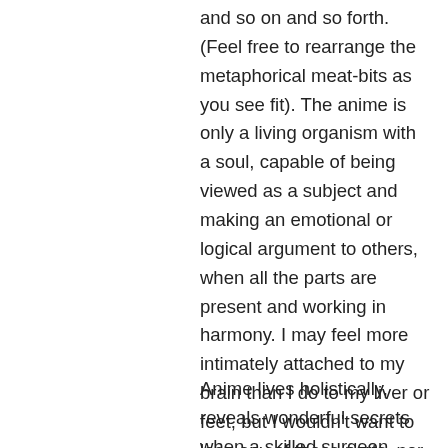and so on and so forth. (Feel free to rearrange the metaphorical meat-bits as you see fit). The anime is only a living organism with a soul, capable of being viewed as a subject and making an emotional or logical argument to others, when all the parts are present and working in harmony. I may feel more intimately attached to my brain than I do to my liver or feet, but I wouldn't want to lose any of those parts, nor (as Paul points out) would I expect any of my constituent organs to be able to survive without me. Arguing that my spleen “trumps” my hyoid bone is just straight nonsense.
Anime lives holistically, reveals wonderful secrets when a skilled surgeon questions it part-by-part, and dies when dissected or...